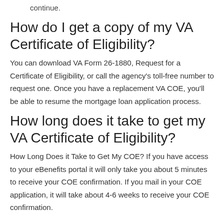continue.
How do I get a copy of my VA Certificate of Eligibility?
You can download VA Form 26-1880, Request for a Certificate of Eligibility, or call the agency's toll-free number to request one. Once you have a replacement VA COE, you'll be able to resume the mortgage loan application process.
How long does it take to get my VA Certificate of Eligibility?
How Long Does it Take to Get My COE? If you have access to your eBenefits portal it will only take you about 5 minutes to receive your COE confirmation. If you mail in your COE application, it will take about 4-6 weeks to receive your COE confirmation.